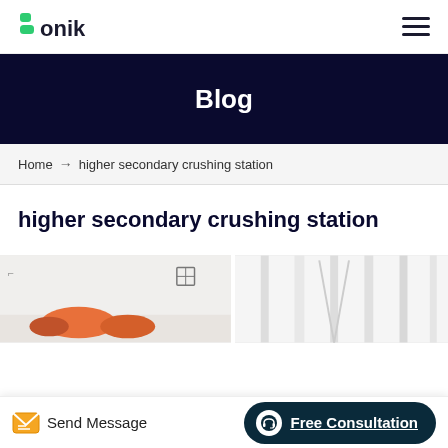[Figure (logo): Bonik company logo with green stylized B icon and 'onik' text]
Blog
Home → higher secondary crushing station
higher secondary crushing station
[Figure (photo): Two partial thumbnail images of industrial/mechanical equipment scenes]
Send Message
Free Consultation